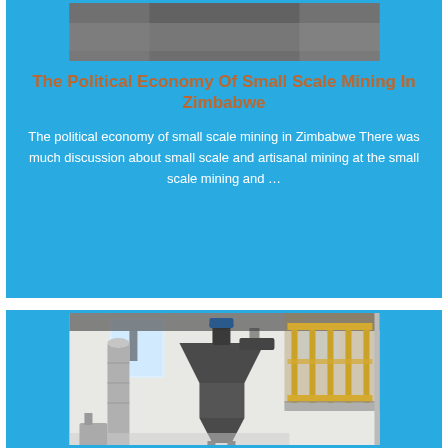[Figure (photo): Top portion of a mining facility photo, showing dark/grey industrial interior, partially cropped]
The Political Economy Of Small Scale Mining In Zimbabwe
The political economy of small scale mining in Zimbabwe There was much discussion about small scale and artisanal mining at the small scale mining and …
[Figure (photo): Industrial mining equipment inside a facility: a large dust collector/cyclone separator in the center, metal ductwork, white walls, yellow metal railing/staircase on the right]